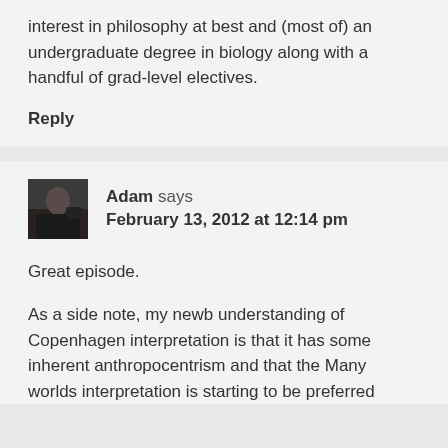interest in philosophy at best and (most of) an undergraduate degree in biology along with a handful of grad-level electives.
Reply
Adam says
February 13, 2012 at 12:14 pm
Great episode.
As a side note, my newb understanding of Copenhagen interpretation is that it has some inherent anthropocentrism and that the Many worlds interpretation is starting to be preferred